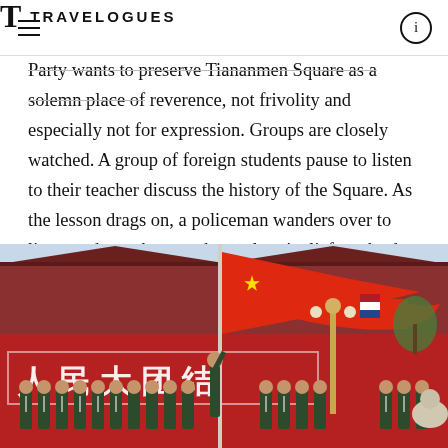TRAVELOGUES
Party wants to preserve Tiananmen Square as a solemn place of reverence, not frivolity and especially not for expression. Groups are closely watched. A group of foreign students pause to listen to their teacher discuss the history of the Square. As the lesson drags on, a policeman wanders over to listen and – perhaps to the students' relief – asks the teacher to move on.
[Figure (photo): Military honor guard ceremony at Tiananmen Square, Beijing. Soldiers in green uniforms stand in formation in front of the iconic red gate. A large red Chinese flag is being raised on a flagpole. The red wall bears Chinese characters. Additional flags including a Dutch flag are visible in the background along with ornate lamp posts.]